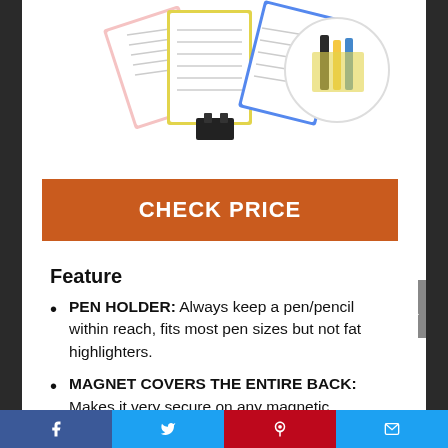[Figure (photo): Product photo showing colorful magnetic notepads with pen holder and binder clips, displayed as a fan of notepads with a circular detail inset showing pens in the holder]
CHECK PRICE
Feature
PEN HOLDER: Always keep a pen/pencil within reach, fits most pen sizes but not fat highlighters.
MAGNET COVERS THE ENTIRE BACK: Makes it very secure on any magnetic attracting surface without
Facebook | Twitter | Pinterest | Email